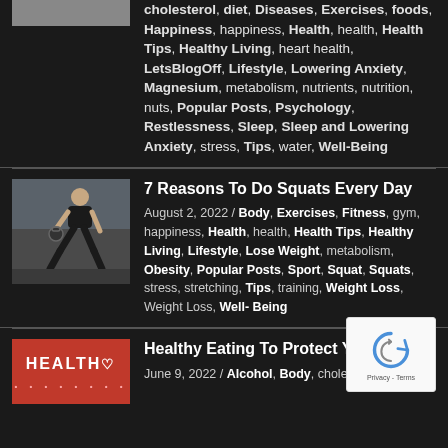cholesterol, diet, Diseases, Exercises, foods, Happiness, happiness, Health, health, Health Tips, Healthy Living, heart health, LetsBlogOff, Lifestyle, Lowering Anxiety, Magnesium, metabolism, nutrients, nutrition, nuts, Popular Posts, Psychology, Restlessness, Sleep, Sleep and Lowering Anxiety, stress, Tips, water, Well-Being
[Figure (photo): Person doing squats in a gym, crouching position with weights]
7 Reasons To Do Squats Every Day
August 2, 2022 / Body, Exercises, Fitness, gym, happiness, Health, health, Health Tips, Healthy Living, Lifestyle, Lose Weight, metabolism, Obesity, Popular Posts, Sport, Squat, Squats, stress, stretching, Tips, training, Weight Loss, Weight Loss, Well-Being
[Figure (photo): Red banner with HEALTH text and heart symbol, with dotted pattern below]
Healthy Eating To Protect Your Heart
June 9, 2022 / Alcohol, Body, cholesterol, diet,